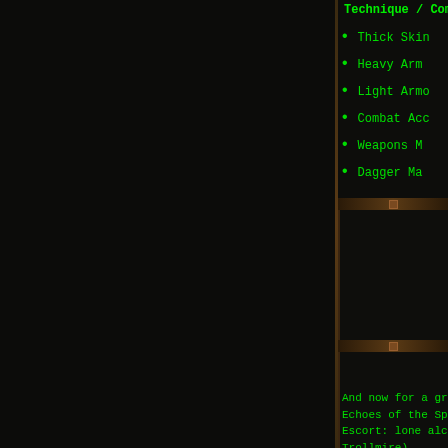Technique / Com...
Thick Skin
Heavy Arm...
Light Armo...
Combat Acc...
Weapons M...
Dagger Ma...
And now for a gr... Echoes of the Spe... Escort: lone alche... Trollmire) Escort: repented... Scintillating Cave...